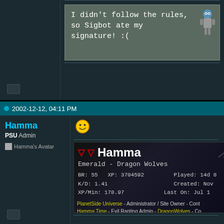[Figure (screenshot): Forum signature box with gray-green background containing text: I didn't follow the rules, so Sigbot ate my signature! :( with a robot character on the right]
I didn't follow the rules, so Sigbot ate my signature! :(
2002-12-12, 04:11 PM
Hamma
PSU Admin
[Figure (photo): Hamma's Avatar placeholder]
[Figure (screenshot): PlanetSide game stats card for Hamma showing: Emerald - Dragon Wolves, BR: 55, XP: 3704592, K/D: 1.41, XP/Min: 178.97, Played: 14d 8, Created: Nov, Last On: Jul 1]
PlanetSide Universe - Administrator / Site Owner - Cont Hamma Time - Evil Ranting Admin - DragonWolves - Co